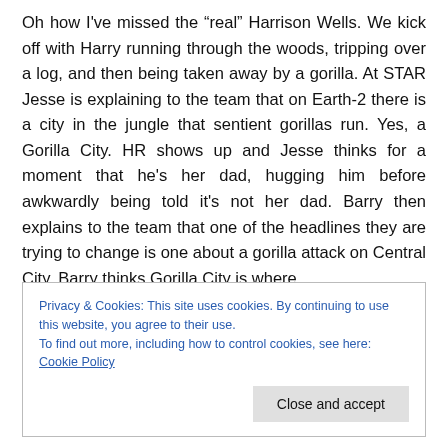Oh how I've missed the “real” Harrison Wells. We kick off with Harry running through the woods, tripping over a log, and then being taken away by a gorilla. At STAR Jesse is explaining to the team that on Earth-2 there is a city in the jungle that sentient gorillas run. Yes, a Gorilla City. HR shows up and Jesse thinks for a moment that he's her dad, hugging him before awkwardly being told it's not her dad. Barry then explains to the team that one of the headlines they are trying to change is one about a gorilla attack on Central City. Barry thinks Gorilla City is where
Privacy & Cookies: This site uses cookies. By continuing to use this website, you agree to their use.
To find out more, including how to control cookies, see here: Cookie Policy